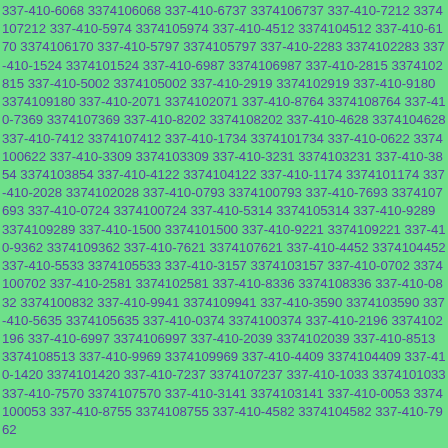337-410-6068 3374106068 337-410-6737 3374106737 337-410-7212 3374107212 337-410-5974 3374105974 337-410-4512 3374104512 337-410-6170 3374106170 337-410-5797 3374105797 337-410-2283 3374102283 337-410-1524 3374101524 337-410-6987 3374106987 337-410-2815 3374102815 337-410-5002 3374105002 337-410-2919 3374102919 337-410-9180 3374109180 337-410-2071 3374102071 337-410-8764 3374108764 337-410-7369 3374107369 337-410-8202 3374108202 337-410-4628 3374104628 337-410-7412 3374107412 337-410-1734 3374101734 337-410-0622 3374100622 337-410-3309 3374103309 337-410-3231 3374103231 337-410-3854 3374103854 337-410-4122 3374104122 337-410-1174 3374101174 337-410-2028 3374102028 337-410-0793 3374100793 337-410-7693 3374107693 337-410-0724 3374100724 337-410-5314 3374105314 337-410-9289 3374109289 337-410-1500 3374101500 337-410-9221 3374109221 337-410-9362 3374109362 337-410-7621 3374107621 337-410-4452 3374104452 337-410-5533 3374105533 337-410-3157 3374103157 337-410-0702 3374100702 337-410-2581 3374102581 337-410-8336 3374108336 337-410-0832 3374100832 337-410-9941 3374109941 337-410-3590 3374103590 337-410-5635 3374105635 337-410-0374 3374100374 337-410-2196 3374102196 337-410-6997 3374106997 337-410-2039 3374102039 337-410-8513 3374108513 337-410-9969 3374109969 337-410-4409 3374104409 337-410-1420 3374101420 337-410-7237 3374107237 337-410-1033 3374101033 337-410-7570 3374107570 337-410-3141 3374103141 337-410-0053 3374100053 337-410-8755 3374108755 337-410-4582 3374104582 337-410-7962